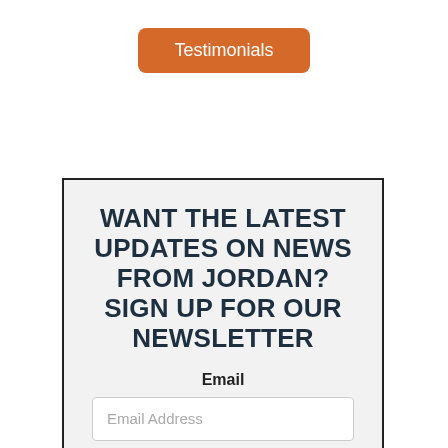Testimonials
WANT THE LATEST UPDATES ON NEWS FROM JORDAN? SIGN UP FOR OUR NEWSLETTER
Email
Email Address
Subscribe